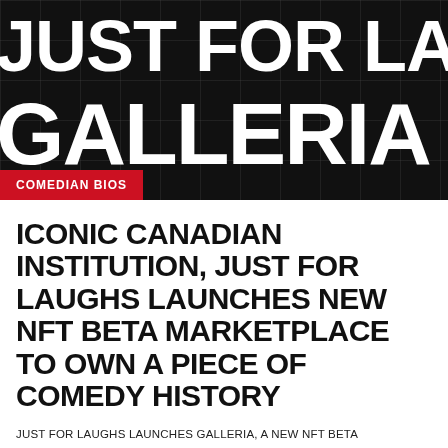[Figure (photo): Hero banner image showing 'JUST FOR LAUGHS GALLERIA' text in large white bold letters on a dark black background with grid overlay]
COMEDIAN BIOS
ICONIC CANADIAN INSTITUTION, JUST FOR LAUGHS LAUNCHES NEW NFT BETA MARKETPLACE TO OWN A PIECE OF COMEDY HISTORY
JUST FOR LAUGHS LAUNCHES GALLERIA, A NEW NFT BETA